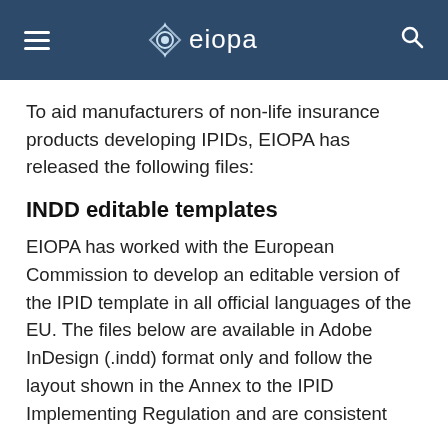EIOPA
To aid manufacturers of non-life insurance products developing IPIDs, EIOPA has released the following files:
INDD editable templates
EIOPA has worked with the European Commission to develop an editable version of the IPID template in all official languages of the EU. The files below are available in Adobe InDesign (.indd) format only and follow the layout shown in the Annex to the IPID Implementing Regulation and are consistent